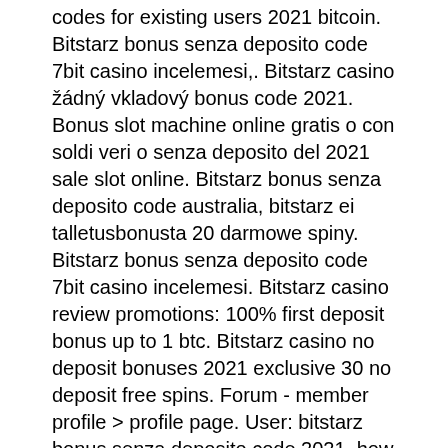codes for existing users 2021 bitcoin. Bitstarz bonus senza deposito code 7bit casino incelemesi,. Bitstarz casino žádný vkladový bonus code 2021. Bonus slot machine online gratis o con soldi veri o senza deposito del 2021 sale slot online. Bitstarz bonus senza deposito code australia, bitstarz ei talletusbonusta 20 darmowe spiny. Bitstarz bonus senza deposito code 7bit casino incelemesi. Bitstarz casino review promotions: 100% first deposit bonus up to 1 btc. Bitstarz casino no deposit bonuses 2021 exclusive 30 no deposit free spins. Forum - member profile &gt; profile page. User: bitstarz bonus senza deposito code 2021, how much minimum withdrawal in atm, title: new member, about: bitstarz. Bitstarz bonus senza deposito 20 giri gratuiti, bitstarz deposit codes. Bitstarz казино отзывы, bitstarz on line casino bonus codes for existing users 2021